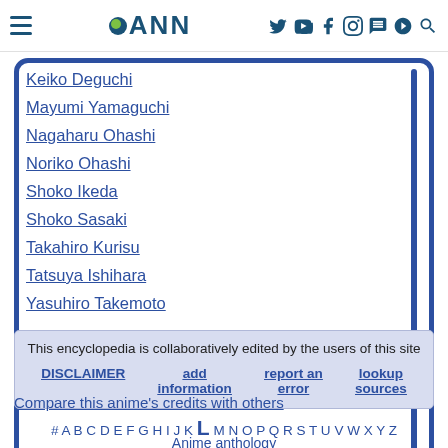ANN navigation bar with hamburger menu, logo, and social icons
Keiko Deguchi
Mayumi Yamaguchi
Nagaharu Ohashi
Noriko Ohashi
Shoko Ikeda
Shoko Sasaki
Takahiro Kurisu
Tatsuya Ishihara
Yasuhiro Takemoto
This encyclopedia is collaboratively edited by the users of this site
DISCLAIMER | add information | report an error | lookup sources
Compare this anime's credits with others
# A B C D E F G H I J K L M N O P Q R S T U V W X Y Z
Anime anthology